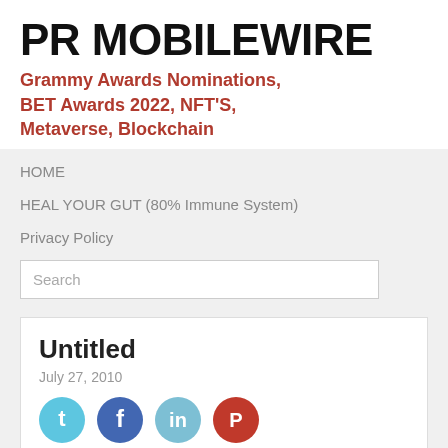PR MOBILEWIRE
Grammy Awards Nominations, BET Awards 2022, NFT'S, Metaverse, Blockchain
HOME
HEAL YOUR GUT (80% Immune System)
Privacy Policy
Search
Untitled
July 27, 2010